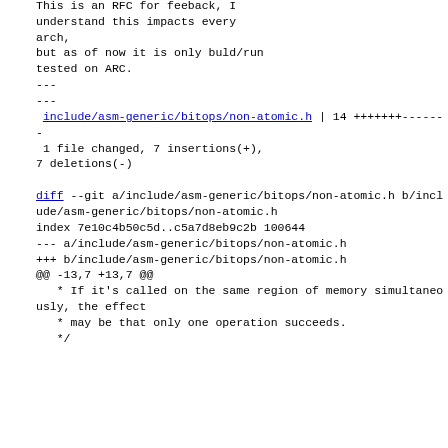---
This is an RFC for feeback, I understand this impacts every arch,
but as of now it is only buld/run tested on ARC.
---
---
 include/asm-generic/bitops/non-atomic.h | 14 +++++++-------
 1 file changed, 7 insertions(+), 7 deletions(-)

diff --git a/include/asm-generic/bitops/non-atomic.h b/include/asm-generic/bitops/non-atomic.h
index 7e10c4b50c5d..c5a7d8eb9c2b 100644
--- a/include/asm-generic/bitops/non-atomic.h
+++ b/include/asm-generic/bitops/non-atomic.h
@@ -13,7 +13,7 @@
   * If it's called on the same region of memory simultaneously, the effect
   * may be that only one operation succeeds.
   */